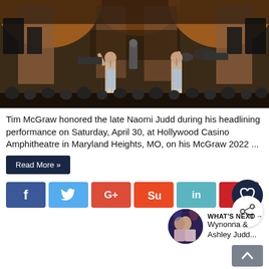[Figure (photo): Concert stage photo showing performers on a large stage with orange lighting, speakers, and audience below. Two performers visible in foreground, band members in background.]
Tim McGraw honored the late Naomi Judd during his headlining performance on Saturday, April 30, at Hollywood Casino Amphitheatre in Maryland Heights, MO, on his McGraw 2022 ...
Read More »
[Figure (infographic): Social media share buttons: Facebook (f), Twitter (bird), Google+ (G+), StumbleUpon (Su), LinkedIn (in), Pinterest (heart/pin). Heart favorite button and share button on right side.]
[Figure (photo): What's Next thumbnail showing Wynonna & Ashley Judd...]